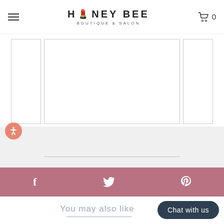HONEY BEE BOUTIQUE & SALON
[Figure (photo): Product image viewer with left thumbnail panel, main center image panel, right thumbnail panel, and lower gray detail section with a horizontal divider line]
[Figure (infographic): Circular orange accessibility icon button with person symbol]
[Figure (infographic): Dusty rose social media bar with Facebook, Twitter, and Pinterest icons in white]
You may also like
Chat with us